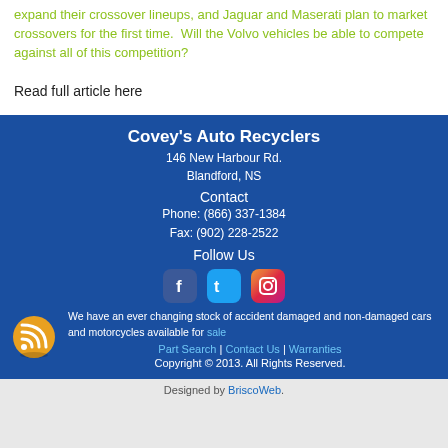expand their crossover lineups, and Jaguar and Maserati plan to market crossovers for the first time.  Will the Volvo vehicles be able to compete against all of this competition?
Read full article here
Covey's Auto Recyclers
146 New Harbour Rd.
Blandford, NS
Contact
Phone: (866) 337-1384
Fax: (902) 228-2522
Follow Us
We have an ever changing stock of accident damaged and non-damaged cars and motorcycles available for sale
Part Search | Contact Us | Warranties
Copyright © 2013. All Rights Reserved.
Designed by BriscoWeb.